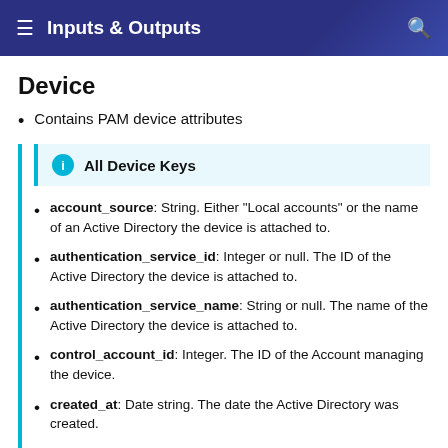Inputs & Outputs
Device
Contains PAM device attributes
All Device Keys
account_source: String. Either "Local accounts" or the name of an Active Directory the device is attached to.
authentication_service_id: Integer or null. The ID of the Active Directory the device is attached to.
authentication_service_name: String or null. The name of the Active Directory the device is attached to.
control_account_id: Integer. The ID of the Account managing the device.
created_at: Date string. The date the Active Directory was created.
device_template_id: Integer. The ID of the device template.